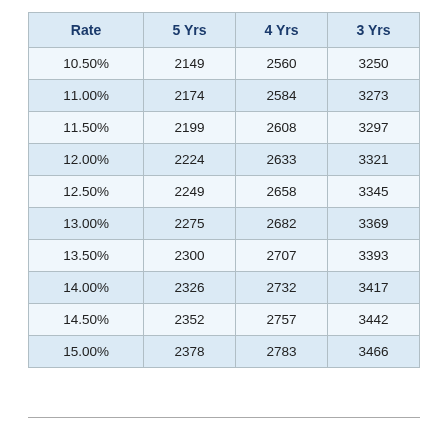| Rate | 5 Yrs | 4 Yrs | 3 Yrs |
| --- | --- | --- | --- |
| 10.50% | 2149 | 2560 | 3250 |
| 11.00% | 2174 | 2584 | 3273 |
| 11.50% | 2199 | 2608 | 3297 |
| 12.00% | 2224 | 2633 | 3321 |
| 12.50% | 2249 | 2658 | 3345 |
| 13.00% | 2275 | 2682 | 3369 |
| 13.50% | 2300 | 2707 | 3393 |
| 14.00% | 2326 | 2732 | 3417 |
| 14.50% | 2352 | 2757 | 3442 |
| 15.00% | 2378 | 2783 | 3466 |